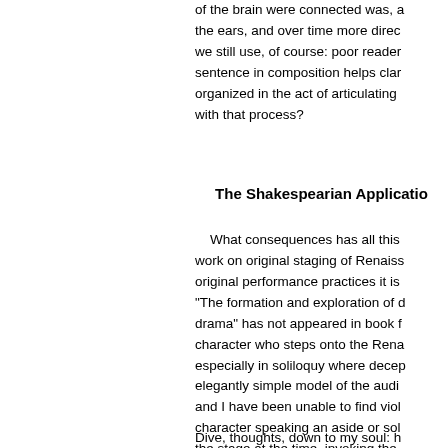of the brain were connected was, a the ears, and over time more direc we still use, of course: poor reader sentence in composition helps clar organized in the act of articulating with that process?
The Shakespearian Applicatio
What consequences has all this work on original staging of Renaiss original performance practices it is "The formation and exploration of d drama" has not appeared in book f character who steps onto the Rena especially in soliloquy where decep elegantly simple model of the audi and I have been unable to find viol character speaking an aside or sol the stage at the time, invoking the stage to confide in the audience. H unaware, and hence the fear of be Dive, thoughts, down to my soul: h